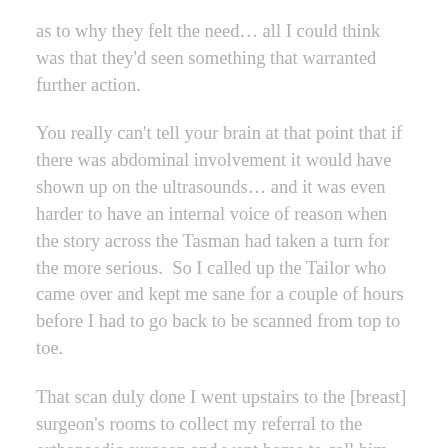as to why they felt the need… all I could think was that they'd seen something that warranted further action.
You really can't tell your brain at that point that if there was abdominal involvement it would have shown up on the ultrasounds… and it was even harder to have an internal voice of reason when the story across the Tasman had taken a turn for the more serious.  So I called up the Tailor who came over and kept me sane for a couple of hours before I had to go back to be scanned from top to toe.
That scan duly done I went upstairs to the [breast] surgeon's rooms to collect my referral to the orthopaedic surgeon and went home to call him for an appointment. I was desperately hoping that he was